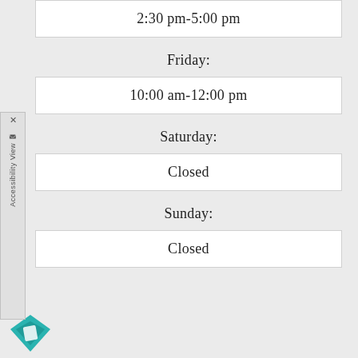| 2:30 pm-5:00 pm |
| Friday: |
| 10:00 am-12:00 pm |
| Saturday: |
| Closed |
| Sunday: |
| Closed |